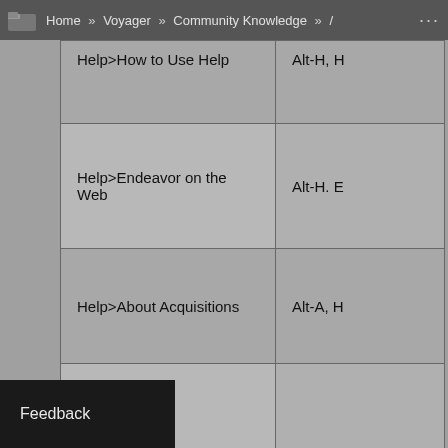Home » Voyager » Community Knowledge » /
| FILE (more) | Keyboard Equivalent |
| --- | --- |
| Help>How to Use Help | Alt-H, H |
| Help>Endeavor on the Web | Alt-H. E |
| Help>About Acquisitions | Alt-A, H |
|  |  |
| FILE (more) | Keyboard Equivalent |
|  | Alt-F, C |